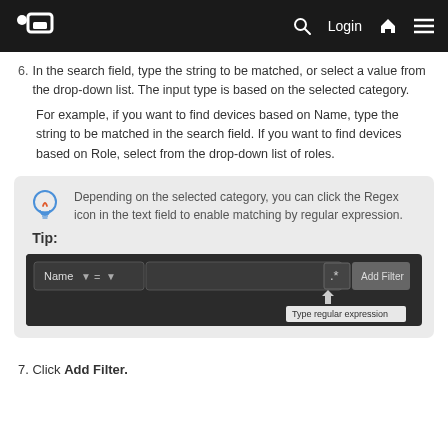Login
6. In the search field, type the string to be matched, or select a value from the drop-down list. The input type is based on the selected category.
For example, if you want to find devices based on Name, type the string to be matched in the search field. If you want to find devices based on Role, select from the drop-down list of roles.
[Figure (screenshot): Tip box with lightbulb icon. Text: 'Depending on the selected category, you can click the Regex icon in the text field to enable matching by regular expression.' Screenshot showing a filter bar with Name field, equals operator, regex icon, Add Filter button, and 'Type regular expression' tooltip.]
7. Click Add Filter.